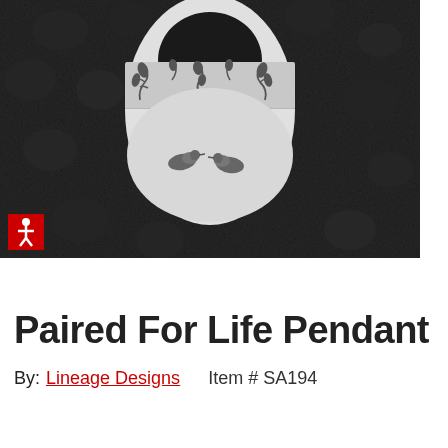[Figure (photo): A silver pendant with an oval/egg shape, featuring etched loon birds and decorative vine/leaf patterns on a dark black textured fabric background. A red accessibility icon button is visible in the lower-left corner of the image.]
Paired For Life Pendant
By: Lineage Designs   Item # SA194